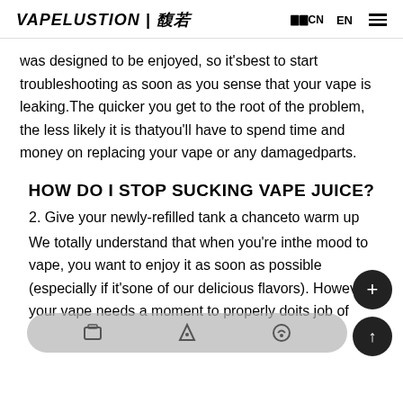VAPELUSTION | 馥若   CN   EN   ☰
was designed to be enjoyed, so it'sbest to start troubleshooting as soon as you sense that your vape is leaking.The quicker you get to the root of the problem, the less likely it is thatyou'll have to spend time and money on replacing your vape or any damagedparts.
HOW DO I STOP SUCKING VAPE JUICE?
2. Give your newly-refilled tank a chanceto warm up
We totally understand that when you're inthe mood to vape, you want to enjoy it as soon as possible (especially if it'sone of our delicious flavors). However, your vape needs a moment to properly doits job of